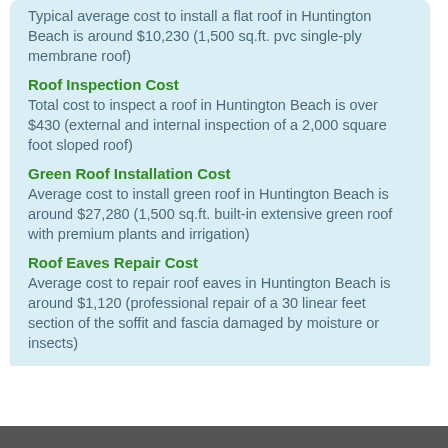Typical average cost to install a flat roof in Huntington Beach is around $10,230 (1,500 sq.ft. pvc single-ply membrane roof)
Roof Inspection Cost
Total cost to inspect a roof in Huntington Beach is over $430 (external and internal inspection of a 2,000 square foot sloped roof)
Green Roof Installation Cost
Average cost to install green roof in Huntington Beach is around $27,280 (1,500 sq.ft. built-in extensive green roof with premium plants and irrigation)
Roof Eaves Repair Cost
Average cost to repair roof eaves in Huntington Beach is around $1,120 (professional repair of a 30 linear feet section of the soffit and fascia damaged by moisture or insects)